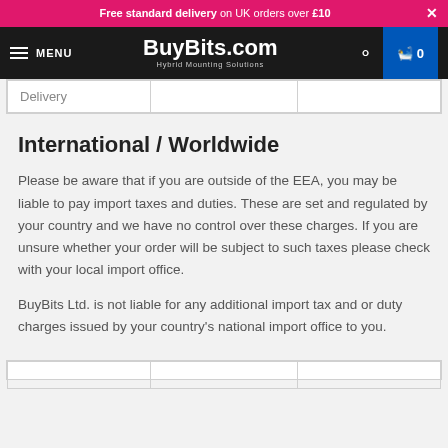Free standard delivery on UK orders over £10  ×
MENU  BuyBits.com Hybrid Mounting Solutions  🔍  🛒 0
| Delivery |  |  |
International / Worldwide
Please be aware that if you are outside of the EEA, you may be liable to pay import taxes and duties. These are set and regulated by your country and we have no control over these charges. If you are unsure whether your order will be subject to such taxes please check with your local import office.
BuyBits Ltd. is not liable for any additional import tax and or duty charges issued by your country's national import office to you.
|  |  |  |